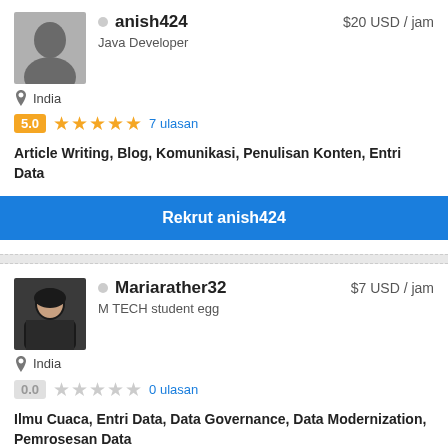anish424 — $20 USD / jam — Java Developer — India — 5.0 rating, 7 ulasan — Article Writing, Blog, Komunikasi, Penulisan Konten, Entri Data
Rekrut anish424
Mariarather32 — $7 USD / jam — M TECH student egg — India — 0.0 rating, 0 ulasan — Ilmu Cuaca, Entri Data, Data Governance, Data Modernization, Pemrosesan Data
Rekrut Mariarather32